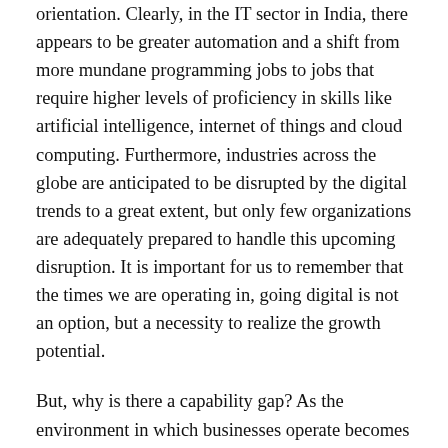orientation. Clearly, in the IT sector in India, there appears to be greater automation and a shift from more mundane programming jobs to jobs that require higher levels of proficiency in skills like artificial intelligence, internet of things and cloud computing. Furthermore, industries across the globe are anticipated to be disrupted by the digital trends to a great extent, but only few organizations are adequately prepared to handle this upcoming disruption. It is important for us to remember that the times we are operating in, going digital is not an option, but a necessity to realize the growth potential.
But, why is there a capability gap? As the environment in which businesses operate becomes more complex, skills evolve and become obsolete more rapidly. As corporates, we have not made significant efforts in building development programs that create capabilities in a continuous way. Resting on traditional learning and development interventions with few training programs across the organization will no longer serve the purpose. Companies have the opportunity to build more integrated development strategies by carefully designing their